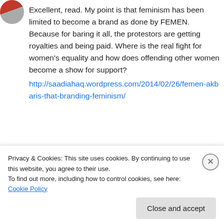[Figure (photo): Circular avatar image, partially visible at top-left, showing a person with red clothing]
Excellent, read. My point is that feminism has been limited to become a brand as done by FEMEN. Because for baring it all, the protestors are getting royalties and being paid. Where is the real fight for women's equality and how does offending other women become a show for support?
http://saadiahaq.wordpress.com/2014/02/26/femen-akbaris-that-branding-feminism/
Privacy & Cookies: This site uses cookies. By continuing to use this website, you agree to their use.
To find out more, including how to control cookies, see here: Cookie Policy